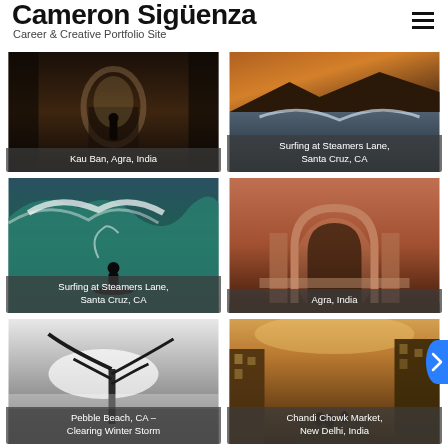Cameron Siguenza — Career & Creative Portfolio Site
[Figure (photo): Dark atmospheric photo of a person walking through an ornate archway in Kau Ban, Agra, India]
Kau Ban, Agra, India
[Figure (photo): Dramatic sunset ocean wave photo labeled Surfing at Steamers Lane, Santa Cruz, CA]
Surfing at Steamers Lane, Santa Cruz, CA
[Figure (photo): Surfer riding a large wave at Steamers Lane, Santa Cruz, CA]
Surfing at Steamers Lane, Santa Cruz, CA
[Figure (photo): Ornate red sandstone arched hallway at Agra, India]
Agra, India
[Figure (photo): Black and white photo of a lone tree in a storm at Pebble Beach, CA – Clearing Winter Storm]
Pebble Beach, CA – Clearing Winter Storm
[Figure (photo): Sepia-toned photo of Chandi Chowk Market street scene in New Delhi, India]
Chandi Chowk Market, New Delhi, India